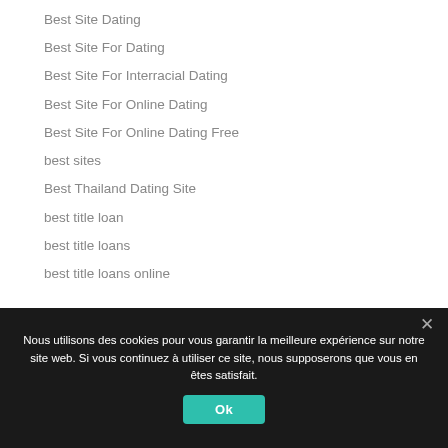Best Site Dating
Best Site For Dating
Best Site For Interracial Dating
Best Site For Online Dating
Best Site For Online Dating Free
best sites
Best Thailand Dating Site
best title loan
best title loans
best title loans online
Nous utilisons des cookies pour vous garantir la meilleure expérience sur notre site web. Si vous continuez à utiliser ce site, nous supposerons que vous en êtes satisfait.
Ok